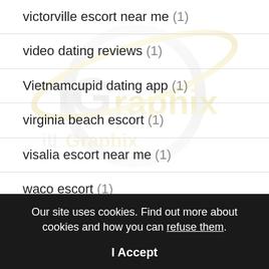[Figure (logo): illGraphix watermark logo with gold and silver lettering and orbital ring — faded watermark overlaid across the list area]
victorville escort near me (1)
video dating reviews (1)
Vietnamcupid dating app (1)
virginia beach escort (1)
visalia escort near me (1)
waco escort (1)
Our site uses cookies. Find out more about cookies and how you can refuse them.
I Accept